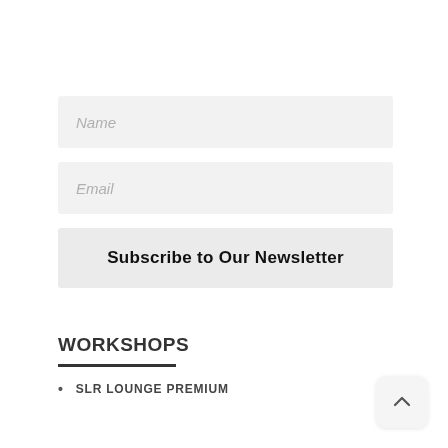Name
Email
Subscribe to Our Newsletter
WORKSHOPS
SLR LOUNGE PREMIUM